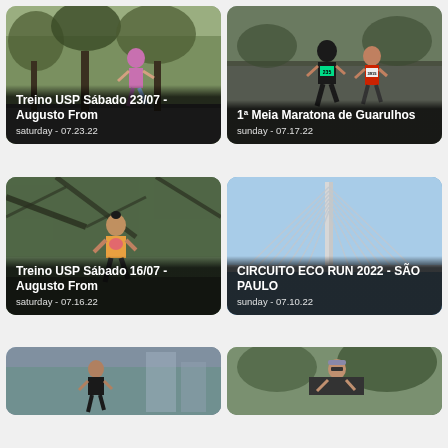[Figure (photo): Runner woman in purple top running outdoors with trees in background - Treino USP Sábado 23/07]
Treino USP Sábado 23/07 - Augusto From
saturday - 07.23.22
[Figure (photo): Two runners with race bibs 235 and 3915 running in a race - 1ª Meia Maratona de Guarulhos]
1ª Meia Maratona de Guarulhos
sunday - 07.17.22
[Figure (photo): Male runner with tattoos in colorful tank top running outdoors with tree branches above - Treino USP Sábado 16/07]
Treino USP Sábado 16/07 - Augusto From
saturday - 07.16.22
[Figure (photo): Cable-stayed bridge (Estaiada bridge) in São Paulo blue sky - CIRCUITO ECO RUN 2022]
CIRCUITO ECO RUN 2022 - SÃO PAULO
sunday - 07.10.22
[Figure (photo): Male runner in black t-shirt in urban setting with city buildings behind]
[Figure (photo): Female runner with sunglasses and headband outdoors with trees]